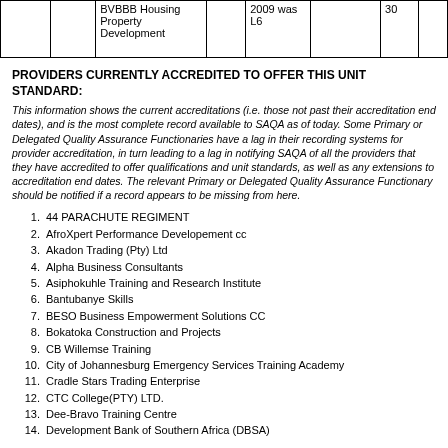|  |  | BVBBB Housing Property Development |  | 2009 was L6 |  | 30 |  |
| --- | --- | --- | --- | --- | --- | --- | --- |
|  |  | BVBBB Housing Property Development |  | 2009 was L6 |  | 30 |  |
PROVIDERS CURRENTLY ACCREDITED TO OFFER THIS UNIT STANDARD:
This information shows the current accreditations (i.e. those not past their accreditation end dates), and is the most complete record available to SAQA as of today. Some Primary or Delegated Quality Assurance Functionaries have a lag in their recording systems for provider accreditation, in turn leading to a lag in notifying SAQA of all the providers that they have accredited to offer qualifications and unit standards, as well as any extensions to accreditation end dates. The relevant Primary or Delegated Quality Assurance Functionary should be notified if a record appears to be missing from here.
44 PARACHUTE REGIMENT
AfroXpert Performance Developement cc
Akadon Trading (Pty) Ltd
Alpha Business Consultants
Asiphokuhle Training and Research Institute
Bantubanye Skills
BESO Business Empowerment Solutions CC
Bokatoka Construction and Projects
CB Willemse Training
City of Johannesburg Emergency Services Training Academy
Cradle Stars Trading Enterprise
CTC College(PTY) LTD.
Dee-Bravo Training Centre
Development Bank of Southern Africa (DBSA)